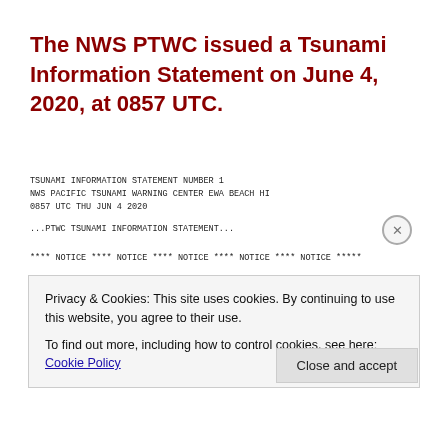The NWS PTWC issued a Tsunami Information Statement on June 4, 2020, at 0857 UTC.
TSUNAMI INFORMATION STATEMENT NUMBER 1
NWS PACIFIC TSUNAMI WARNING CENTER EWA BEACH HI
0857 UTC THU JUN 4 2020

...PTWC TSUNAMI INFORMATION STATEMENT...


**** NOTICE **** NOTICE **** NOTICE **** NOTICE **** NOTICE *****

THIS STATEMENT IS ISSUED FOR INFORMATION ONLY IN SUPPORT OF THE
UNESCO/IOC PACIFIC TSUNAMI WARNING AND MITIGATION SYSTEM AND IS
MEANT FOR NATIONAL AUTHORITIES IN EACH COUNTRY OF THAT SYSTEM.

NATIONAL AUTHORITIES WILL DETERMINE THE APPROPRIATE LEVEL OF
ALERT FOR EACH COUNTRY AND MAY ISSUE ADDITIONAL OR MORE REFINED
Privacy & Cookies: This site uses cookies. By continuing to use this website, you agree to their use.
To find out more, including how to control cookies, see here: Cookie Policy
Close and accept